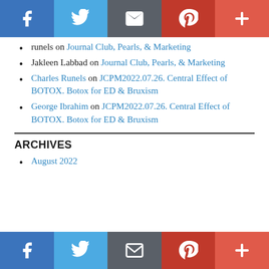Social sharing bar: Facebook, Twitter, Email, Pinterest, Plus
runels on Journal Club, Pearls, & Marketing
Jakleen Labbad on Journal Club, Pearls, & Marketing
Charles Runels on JCPM2022.07.26. Central Effect of BOTOX. Botox for ED & Bruxism
George Ibrahim on JCPM2022.07.26. Central Effect of BOTOX. Botox for ED & Bruxism
ARCHIVES
August 2022
Social sharing bar: Facebook, Twitter, Email, Pinterest, Plus